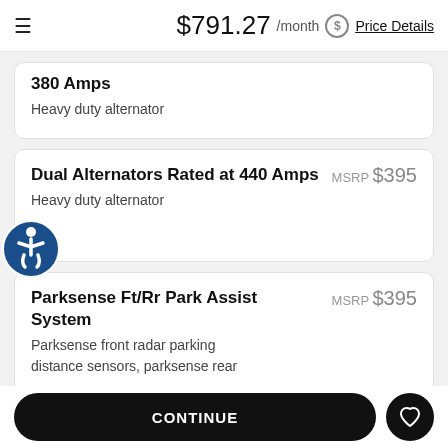$791.27 /month Price Details
380 Amps
Heavy duty alternator
Dual Alternators Rated at 440 Amps
MSRP $395
Heavy duty alternator
Parksense Ft/Rr Park Assist System
MSRP $395
Parksense front radar parking distance sensors, parksense rear
CONTINUE